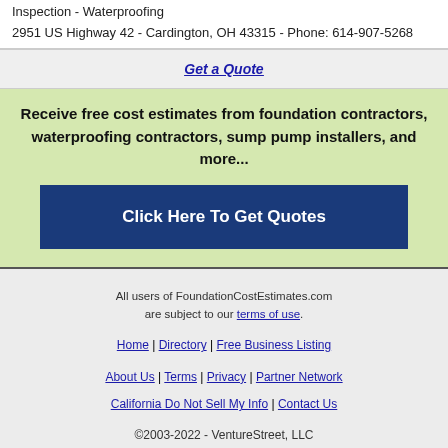Inspection - Waterproofing
2951 US Highway 42 - Cardington, OH 43315 - Phone: 614-907-5268
Get a Quote
Receive free cost estimates from foundation contractors, waterproofing contractors, sump pump installers, and more...
Click Here To Get Quotes
All users of FoundationCostEstimates.com are subject to our terms of use.
Home | Directory | Free Business Listing | About Us | Terms | Privacy | Partner Network | California Do Not Sell My Info | Contact Us
©2003-2022 - VentureStreet, LLC